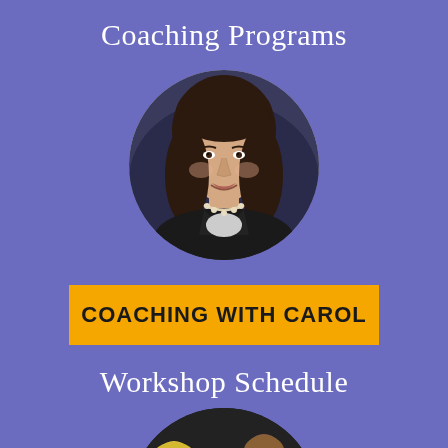Coaching Programs
[Figure (photo): Circular portrait photo of a woman with dark hair, wearing a black jacket and pearl necklace, smiling]
COACHING WITH CAROL
Workshop Schedule
[Figure (photo): Circular photo of a group of women at a workshop, laughing and interacting]